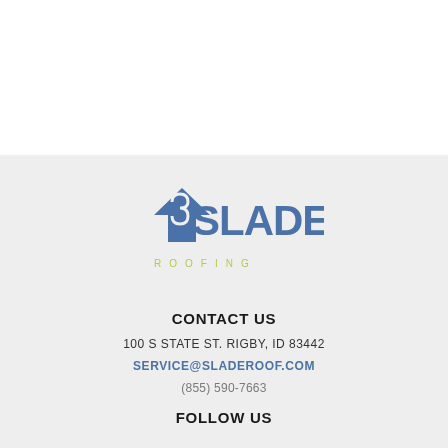[Figure (logo): Slade Roofing logo — blue house/arrow icon with 'SLADE' in large blue letters and 'ROOFING' in small yellow-green spaced letters below]
CONTACT US
100 S STATE ST. RIGBY, ID 83442
SERVICE@SLADEROOF.COM
(855) 590-7663
FOLLOW US